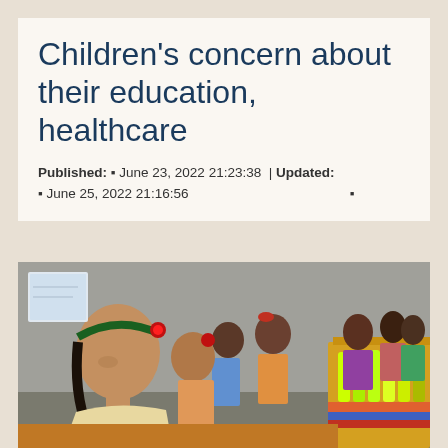Children's concern about their education, healthcare
Published: ¤ June 23, 2022 21:23:38  |  Updated: ¤ June 25, 2022 21:16:56  ¤
[Figure (photo): Children sitting in a row in a classroom. A girl with a green headband and red flower accessory is in the foreground, looking to the side. Other children are seated at a table with colorful items.]